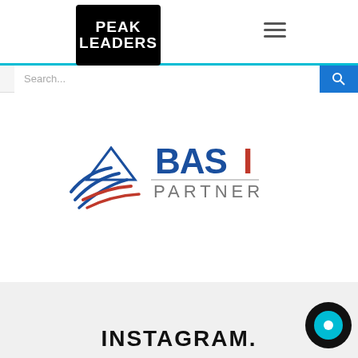[Figure (logo): Peak Leaders logo — black rounded rectangle with white bold text 'PEAK LEADERS']
[Figure (screenshot): Hamburger menu icon (three horizontal lines)]
[Figure (screenshot): Search bar with placeholder text 'Search...' and blue search button]
[Figure (logo): BASI Partner logo — mountain peak with swoosh lines in blue and red, text 'BASI PARTNER']
INSTAGRAM.